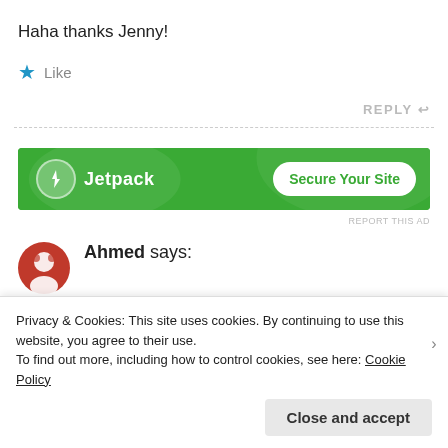Haha thanks Jenny!
★ Like
REPLY ↩
[Figure (infographic): Jetpack advertisement banner with green background, Jetpack logo with lightning bolt icon, and 'Secure Your Site' button]
REPORT THIS AD
Ahmed says:
Privacy & Cookies: This site uses cookies. By continuing to use this website, you agree to their use.
To find out more, including how to control cookies, see here: Cookie Policy
Close and accept